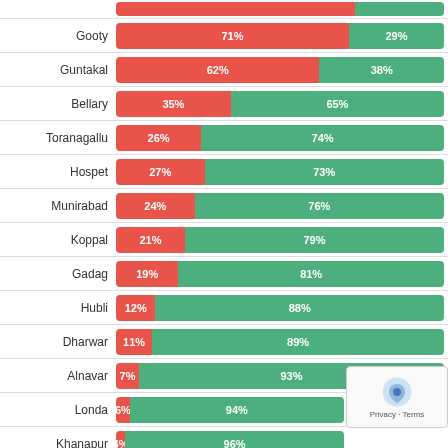[Figure (stacked-bar-chart): Station-wise percentage distribution]